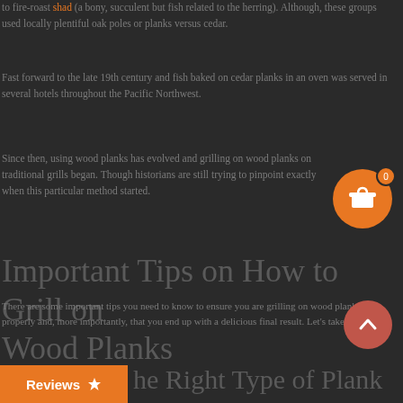to fire-roast shad (a bony, succulent but fish related to the herring). Although, these groups used locally plentiful oak poles or planks versus cedar.
Fast forward to the late 19th century and fish baked on cedar planks in an oven was served in several hotels throughout the Pacific Northwest.
Since then, using wood planks has evolved and grilling on wood planks on traditional grills began. Though historians are still trying to pinpoint exactly when this particular method started.
Important Tips on How to Grill on Wood Planks
There are some important tips you need to know to ensure you are grilling on wood planks properly and, more importantly, that you end up with a delicious final result.  Let's take a look:
he Right Type of Plank